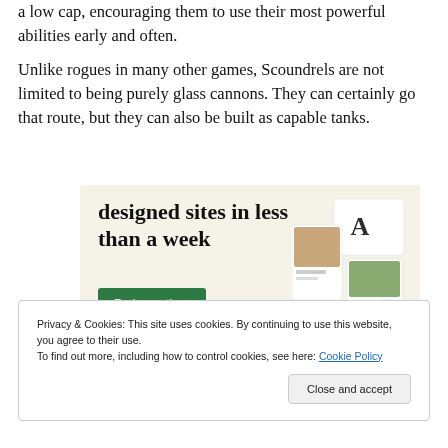a low cap, encouraging them to use their most powerful abilities early and often.
Unlike rogues in many other games, Scoundrels are not limited to being purely glass cannons. They can certainly go that route, but they can also be built as capable tanks.
[Figure (illustration): Advertisement banner with beige background reading 'designed sites in less than a week' with a green 'Explore options' button and mockup screenshots of websites on the right side.]
Privacy & Cookies: This site uses cookies. By continuing to use this website, you agree to their use.
To find out more, including how to control cookies, see here: Cookie Policy
Close and accept